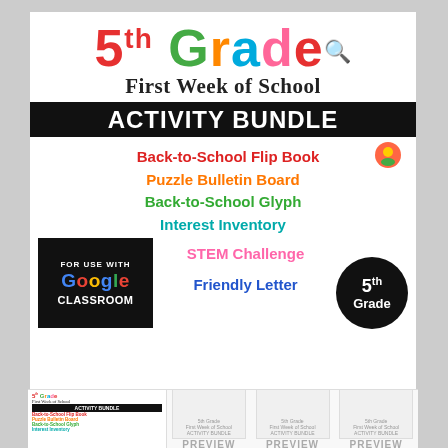5th Grade First Week of School ACTIVITY BUNDLE
Back-to-School Flip Book
Puzzle Bulletin Board
Back-to-School Glyph
Interest Inventory
STEM Challenge
Friendly Letter
FOR USE WITH GOOGLE CLASSROOM
5th Grade
[Figure (other): Preview thumbnails showing bundle contents]